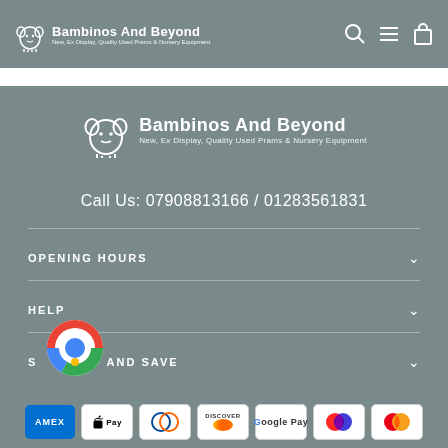Bambinos And Beyond — New, Ex Display, Quality Used Prams & Nursery Equipment
[Figure (logo): Bambinos And Beyond elephant logo centered in footer area with tagline: New, Ex Display, Quality Used Prams & Nursery Equipment]
Call Us: 07908813166 / 01283561831
OPENING HOURS
HELP
SIGN UP AND SAVE
[Figure (logo): Google Maps / Chrome pin icon overlapping bottom left]
[Figure (infographic): Payment method icons: AMEX, Apple Pay, Diners Club, Discover, Google Pay, Maestro, Mastercard]